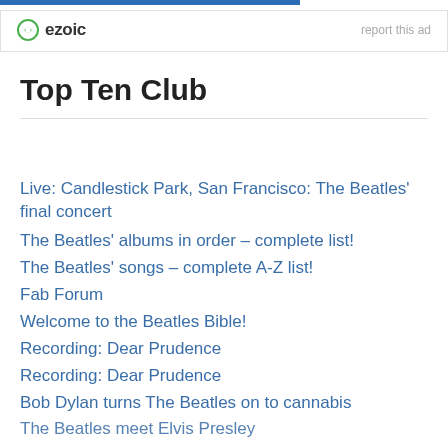[Figure (logo): Ezoic logo with green circular icon and bold text 'ezoic', with 'report this ad' text on the right]
Top Ten Club
Live: Candlestick Park, San Francisco: The Beatles' final concert
The Beatles' albums in order – complete list!
The Beatles' songs – complete A-Z list!
Fab Forum
Welcome to the Beatles Bible!
Recording: Dear Prudence
Recording: Dear Prudence
Bob Dylan turns The Beatles on to cannabis
The Beatles meet Elvis Presley